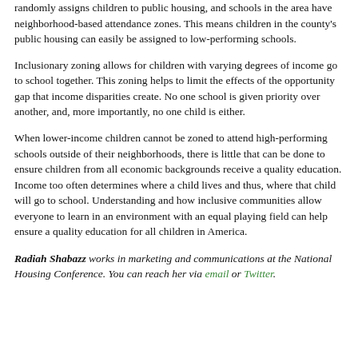randomly assigns children to public housing, and schools in the area have neighborhood-based attendance zones. This means children in the county's public housing can easily be assigned to low-performing schools.
Inclusionary zoning allows for children with varying degrees of income go to school together. This zoning helps to limit the effects of the opportunity gap that income disparities create. No one school is given priority over another, and, more importantly, no one child is either.
When lower-income children cannot be zoned to attend high-performing schools outside of their neighborhoods, there is little that can be done to ensure children from all economic backgrounds receive a quality education. Income too often determines where a child lives and thus, where that child will go to school. Understanding and how inclusive communities allow everyone to learn in an environment with an equal playing field can help ensure a quality education for all children in America.
Radiah Shabazz works in marketing and communications at the National Housing Conference. You can reach her via email or Twitter.